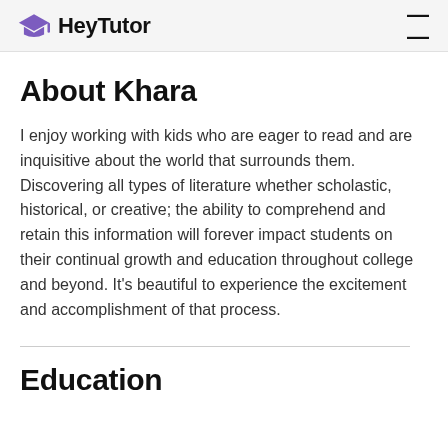HeyTutor
About Khara
I enjoy working with kids who are eager to read and are inquisitive about the world that surrounds them. Discovering all types of literature whether scholastic, historical, or creative; the ability to comprehend and retain this information will forever impact students on their continual growth and education throughout college and beyond. It’s beautiful to experience the excitement and accomplishment of that process.
Education